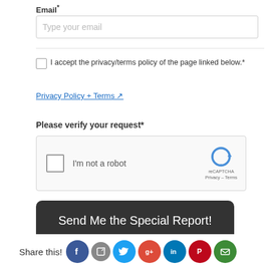Email*
Type your email
I accept the privacy/terms policy of the page linked below.*
Privacy Policy + Terms ↗
Please verify your request*
[Figure (screenshot): reCAPTCHA widget with checkbox 'I'm not a robot' and reCAPTCHA logo]
Send Me the Special Report!
Share this!